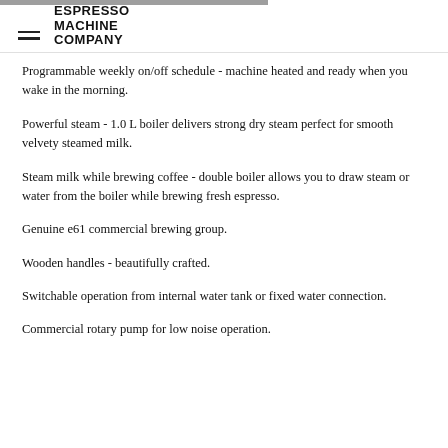ESPRESSO MACHINE COMPANY
Programmable weekly on/off schedule - machine heated and ready when you wake in the morning.
Powerful steam - 1.0 L boiler delivers strong dry steam perfect for smooth velvety steamed milk.
Steam milk while brewing coffee - double boiler allows you to draw steam or water from the boiler while brewing fresh espresso.
Genuine e61 commercial brewing group.
Wooden handles - beautifully crafted.
Switchable operation from internal water tank or fixed water connection.
Commercial rotary pump for low noise operation.